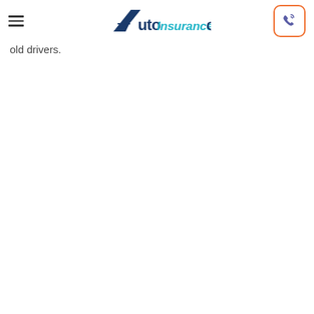AutoInsuranceQuote
old drivers.